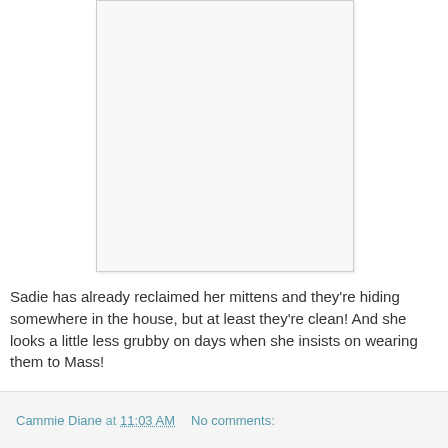[Figure (photo): A blank/white image placeholder with a light border, likely showing mittens (content not visible in this crop)]
Sadie has already reclaimed her mittens and they’re hiding somewhere in the house, but at least they’re clean! And she looks a little less grubby on days when she insists on wearing them to Mass!
Cammie Diane at 11:03 AM   No comments: